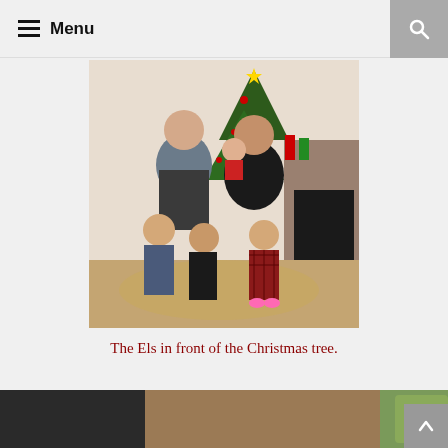☰ Menu
[Figure (photo): Family photo of the Els in front of a Christmas tree. A man and woman stand behind three young children; woman holds a baby. Decorated Christmas tree and fireplace with stockings visible in background.]
The Els in front of the Christmas tree.
[Figure (photo): Partial photo showing a baby's face looking up, with green cushions and brown floor visible in background.]